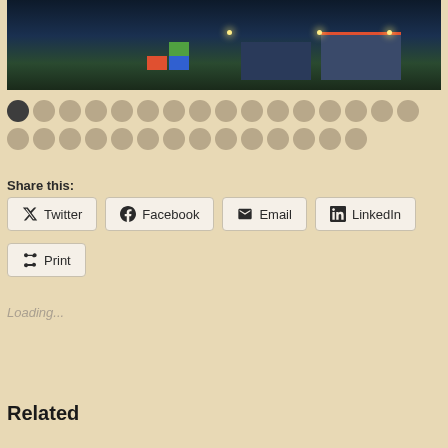[Figure (screenshot): Aerial/top-down view of a city simulation game at night showing buildings, containers, and lights]
Share this:
Twitter
Facebook
Email
LinkedIn
Print
Loading...
Related